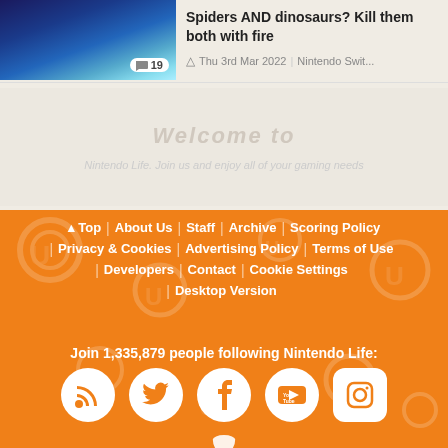[Figure (screenshot): Article thumbnail with anime-style character, comment badge showing 19]
Spiders AND dinosaurs? Kill them both with fire
Thu 3rd Mar 2022 | Nintendo Swit...
[Figure (screenshot): Blurred welcome/welcome text overlay area]
▲ Top | About Us | Staff | Archive | Scoring Policy | Privacy & Cookies | Advertising Policy | Terms of Use | Developers | Contact | Cookie Settings | Desktop Version
Join 1,335,879 people following Nintendo Life:
[Figure (infographic): Social media icons: RSS, Twitter, Facebook, YouTube, Instagram, and partial icon at bottom]